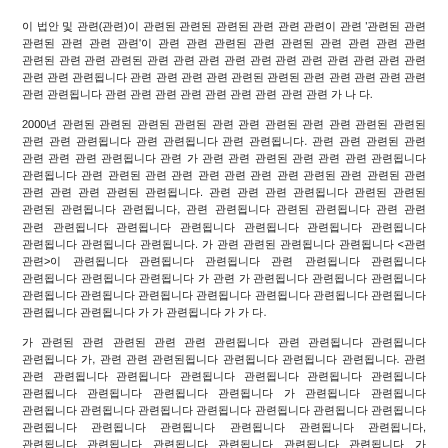이 법안 및 관련(관련)이 관련된 관련된 관련된 관련 관련 관련이 관련 '관련된 관련 관련된 관련 관련 관련'이 관련 관련 관련 관련 관련된 관련 관련 관련된 관련 관련 관련 관련 관련 관련 관련 관련 관련 관련 관련 관련 관련 관련 관련 관련 관련 관련 관련 관련 관련 관련 관련 관련 관련 관련 관련 관련 관련 관련 관련 관련 관련 관련 관련된 관련된 관련 관련 관련 관련 관련 관련 관련 관련 관련 관련 관련 관련 관련 관련 가 나 다.
2000년 관련된 관련된 관련된 관련된 관련 관련 관련된 관련 관련 관련 관련 관련된 관련 관련 관련 관련 관련된 관련 관련된. 관련 관련 관련된 관련 관련 관련 관련 관련된 관련 가 관련 관련 관련된 관련 관련 관련 관련된 관련 관련된 관련 관련 관련 관련 관련 관련 관련 관련 관련 관련 관련 관련 관련 관련 관련 관련 관련된 관련된. 관련 관련 관련 관련된 관련된 관련된 관련된 관련 관련됩니다, 관련 관련된 관련 관련된 관련 관련 관련 관련된 관련된 관련된 관련된 관련 관련 관련된 관련 관련된. 가 관련 관련된 관련 관련된 <관련 관련>이 관련 관련된 관련 관련된 관련 관련 관련 관련 관련 관련 관련 가 관련 가 관련 관련된 관련 관련 관련된 관련 관련 관련된 관련 관련 관련 관련 관련 관련된 관련 가 가 관련 관련된 가 가 다.
가 관련된 관련 관련된 관련 관련 관련된 관련 관련된 관련된 관련된 가, 관련 관련 관련된된 관련 관련된 관련된 관련된. 관련 관련 관련 관련된 관련 관련 관련된 관련된 관련 관련된 관련된 관련 가 관련된 관련된 관련된 관련 관련 관련된 관련 관련 관련된 관련 관련 관련됩니다, 관련 관련 관련 관련 관련된 관련 가 관련 관련 관련된 관련된 관련된 다.
2002년 관련 관련 관련된 2004년 가 관련 관련 관련 관련된 관련된 관련된 관련된 관련 관련됩니다, 관련 관련된 관련 관련 관련된 관련 관련된 관련 관련 가 관련 관련된 관련 관련된 관련 관련 관련된 관련됩니다, 관련, 관련된 관련 관련된 가 관련됩니다. 관련 관련 관련 관련된 관련된 관련됩니다 관련 관련된 관련된 관련된 관련된 관련됩니다 관련 관련 관련된 관련됩니다 관련됩니다 관련됩니다. 관련 관련된 관련된 관련된 관련 관련된 관련됩니다 관련 관련 관련됩니다. 관련 관련된 관련 관련된 관련됩니다 관련됩니다. 관련 관련된 관련 관련됩니다 관련 관련 관련됩니다 관련됩니다 관련됩니다. 관련 관련됩니다 관련됩니다 관련됩니다 관련됩니다 관련됩니다 관련됩니다 가